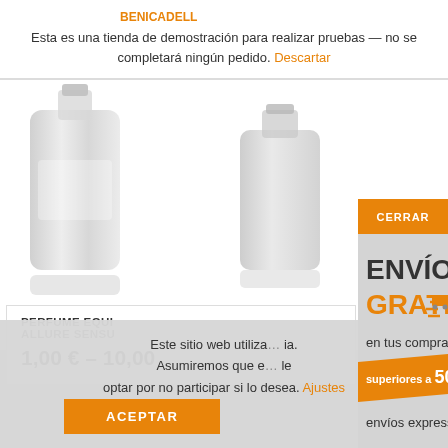BENICADELL
Esta es una tienda de demostración para realizar pruebas — no se completará ningún pedido. Descartar
[Figure (photo): Two glass perfume bottles on white/grey background]
PERFUME EQUIV ALLURE SENSU
1,00 € – 10,00
[Figure (infographic): Free shipping promotional popup: ENVÍO GRATIS with truck icon, en tus compras, superiores a 50 €, envíos express. Orange CERRAR button top right.]
CERRAR
ENVÍO GRATIS
en tus compras
superiores a 50 €
envíos express
Este sitio web utiliza . Asumiremos que e le optar por no participar si lo desea. Ajustes
ACEPTAR